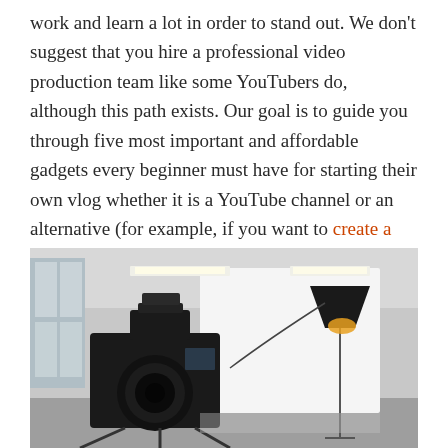work and learn a lot in order to stand out. We don't suggest that you hire a professional video production team like some YouTubers do, although this path exists. Our goal is to guide you through five most important and affordable gadgets every beginner must have for starting their own vlog whether it is a YouTube channel or an alternative (for example, if you want to create a video website free of charge).
[Figure (photo): A DSLR camera on a tripod in a photography studio with white backdrop, studio lighting rigs, and windows visible in the background. Black and white tones with soft lighting.]